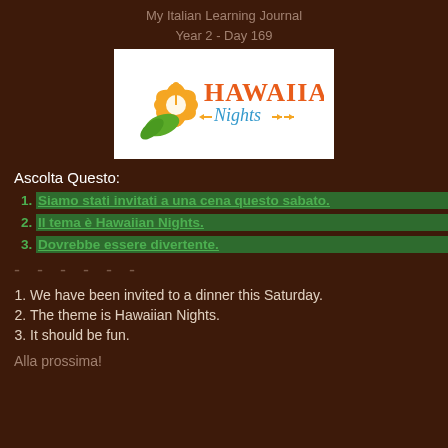My Italian Learning Journal
Year 2 - Day 169
[Figure (logo): Hawaiian Nights logo with orange hibiscus flower and green leaf, text 'HAWAIIAN Nights' in orange and blue]
Ascolta Questo:
Siamo stati invitati a una cena questo sabato.
Il tema è Hawaiian Nights.
Dovrebbe essere divertente.
- - - - - -
We have been invited to a dinner this Saturday.
The theme is Hawaiian Nights.
It should be fun.
Alla prossima!